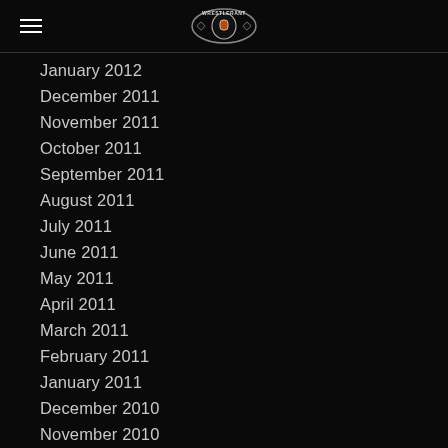[WrestleRant logo with hamburger menu]
January 2012
December 2011
November 2011
October 2011
September 2011
August 2011
July 2011
June 2011
May 2011
April 2011
March 2011
February 2011
January 2011
December 2010
November 2010
RSS Feed